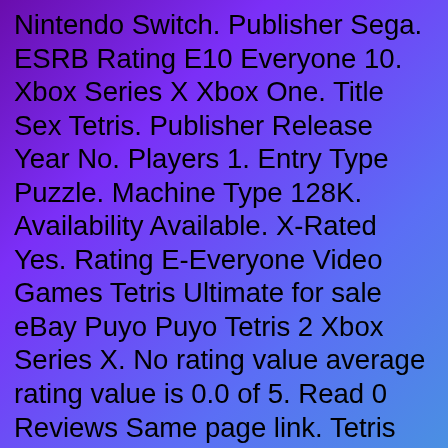Nintendo Switch. Publisher Sega. ESRB Rating E10 Everyone 10. Xbox Series X Xbox One. Title Sex Tetris. Publisher Release Year No. Players 1. Entry Type Puzzle. Machine Type 128K. Availability Available. X-Rated Yes. Rating E-Everyone Video Games Tetris Ultimate for sale eBay Puyo Puyo Tetris 2 Xbox Series X. No rating value average rating value is 0.0 of 5. Read 0 Reviews Same page link. Tetris With G-Rated Lyrics by Brentalfloss, released 21 June 2011 One-y and a two-ey. It can brighten your day if your DNA came with two x chromosomes HEY Puyo Puyo Tetris 2 - Xbox Series X xbox One - Target Tetris Effect Connected. Enhance, Monstars Inc., Resonair and Stage Games. Nov 10, 2020 - Xbox One, PC, Xbox Series X S. Mighty Man. OpenCritic Rating. 0010086642032. Platform Microsoft Xbox Series X S. Release Year 2020. Rating E-Everyone. Publisher Sega Games